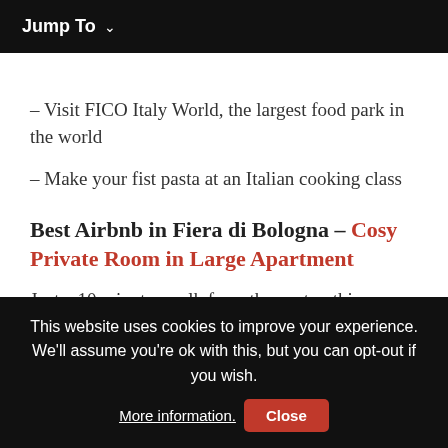Jump To ∨
– Visit FICO Italy World, the largest food park in the world
– Make your fist pasta at an Italian cooking class
Best Airbnb in Fiera di Bologna – Cosy Private Room in Large Apartment
Just a 10 minutes walk from the center, this affordable bedroom comes with a double bed, a big wardrobe and a
This website uses cookies to improve your experience. We'll assume you're ok with this, but you can opt-out if you wish. More information. Close